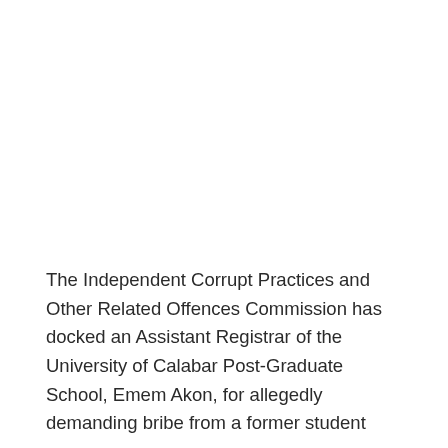The Independent Corrupt Practices and Other Related Offences Commission has docked an Assistant Registrar of the University of Calabar Post-Graduate School, Emem Akon, for allegedly demanding bribe from a former student